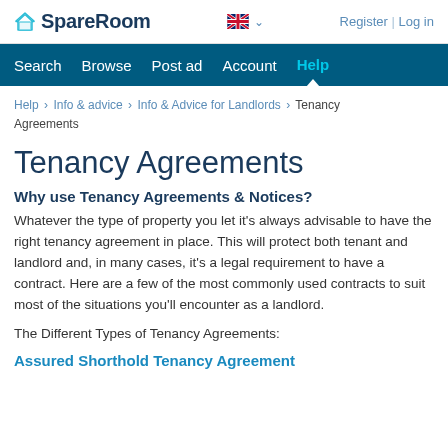SpareRoom | Register | Log in
Search  Browse  Post ad  Account  Help
Help › Info & advice › Info & Advice for Landlords › Tenancy Agreements
Tenancy Agreements
Why use Tenancy Agreements & Notices?
Whatever the type of property you let it's always advisable to have the right tenancy agreement in place. This will protect both tenant and landlord and, in many cases, it's a legal requirement to have a contract. Here are a few of the most commonly used contracts to suit most of the situations you'll encounter as a landlord.
The Different Types of Tenancy Agreements:
Assured Shorthold Tenancy Agreement